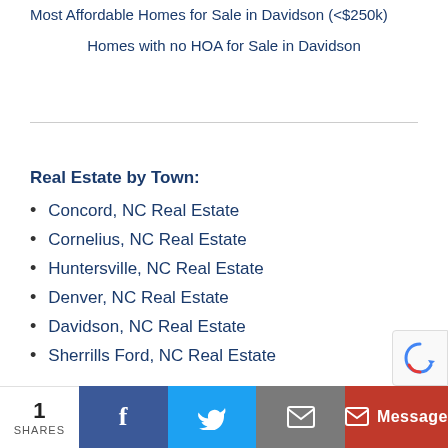Most Affordable Homes for Sale in Davidson (<$250k)
Homes with no HOA for Sale in Davidson
Real Estate by Town:
Concord, NC Real Estate
Cornelius, NC Real Estate
Huntersville, NC Real Estate
Denver, NC Real Estate
Davidson, NC Real Estate
Sherrills Ford, NC Real Estate
1 SHARES | Facebook | Twitter | Email | Message